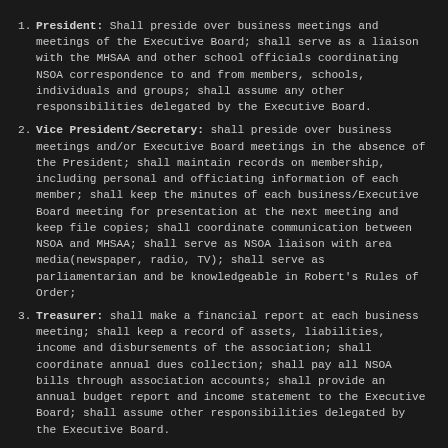President: Shall preside over business meetings and meetings of the Executive Board; shall serve as a liaison with the MHSAA and other school officials coordinating NSOA correspondence to and from members, schools, individuals and groups; shall assume any other responsibilities delegated by the Executive Board.
Vice President/Secretary: shall preside over business meetings and/or Executive Board meetings in the absence of the President; shall maintain records on membership, including personal and officiating information of each member; shall keep the minutes of each business/Executive Board meeting for presentation at the next meeting and keep file copies; shall coordinate communication between NSOA and MHSAA; shall serve as NSOA liaison with area media(newspaper, radio, TV); shall serve as parliamentarian and be knowledgeable in Robert's Rules of Order;
Treasurer: shall make a financial report at each business meeting; shall keep a record of assets, liabilities, income and disbursements of the association; shall coordinate annual dues collection; shall pay all NSOA bills through association accounts; shall provide an annual budget report and income statement to the Executive Board; shall assume other responsibilities delegated by the Executive Board.
Training Coordinator: shall assist in the planning and coordination of all meetings and clinics and assist the President, Vice-President/ Secretary, and Treasurer in conducting the business of the association. Be the